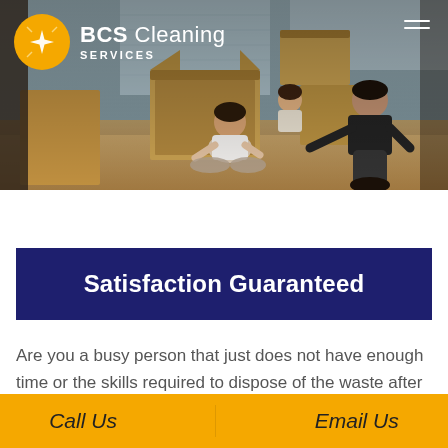[Figure (photo): Family packing moving boxes on the floor, with BCS Cleaning Services logo overlay in top left and hamburger menu in top right. Background shows a warm-toned room with cardboard boxes.]
Satisfaction Guaranteed
Are you a busy person that just does not have enough time or the skills required to dispose of the waste after
Call Us    Email Us